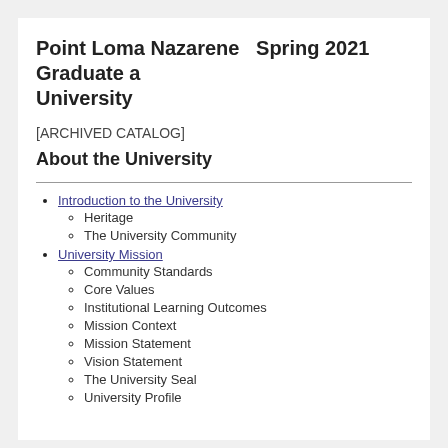Point Loma Nazarene University   Spring 2021 Graduate a
[ARCHIVED CATALOG]
About the University
Introduction to the University
Heritage
The University Community
University Mission
Community Standards
Core Values
Institutional Learning Outcomes
Mission Context
Mission Statement
Vision Statement
The University Seal
University Profile